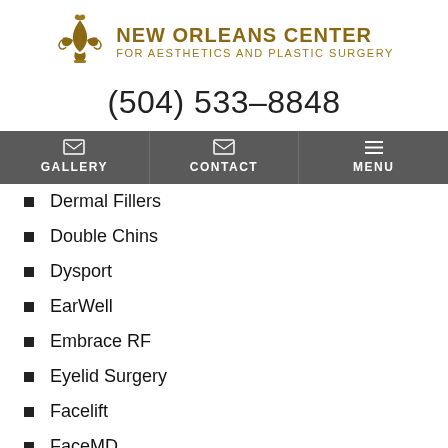[Figure (logo): New Orleans Center for Aesthetics and Plastic Surgery logo with fleur-de-lis symbol in gold/bronze]
(504) 533-8848
Dermal Fillers
Double Chins
Dysport
EarWell
Embrace RF
Eyelid Surgery
Facelift
FaceMD
FaceTite